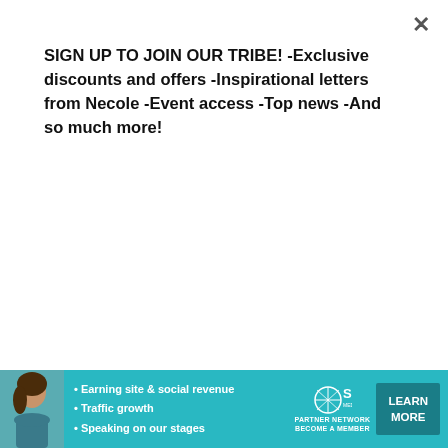SIGN UP TO JOIN OUR TRIBE! -Exclusive discounts and offers -Inspirational letters from Necole -Event access -Top news -And so much more!
[Figure (other): Teal Subscribe button]
[Figure (photo): Face Reality Skincare mandelic face and body wash product bottle]
[Figure (infographic): SHE Partner Network promotional banner ad with woman avatar, bullet points about earning site and social revenue, traffic growth, speaking on our stages, SHE logo, and LEARN MORE button]